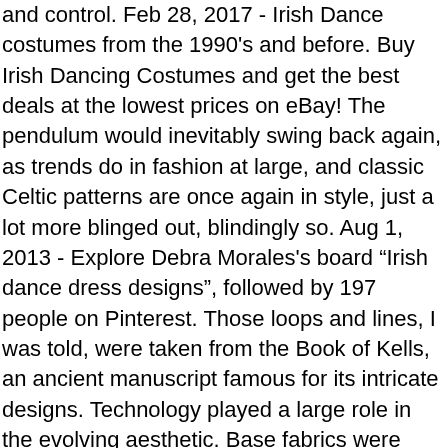and control. Feb 28, 2017 - Irish Dance costumes from the 1990's and before. Buy Irish Dancing Costumes and get the best deals at the lowest prices on eBay! The pendulum would inevitably swing back again, as trends do in fashion at large, and classic Celtic patterns are once again in style, just a lot more blinged out, blindingly so. Aug 1, 2013 - Explore Debra Morales's board "Irish dance dress designs", followed by 197 people on Pinterest. Those loops and lines, I was told, were taken from the Book of Kells, an ancient manuscript famous for its intricate designs. Technology played a large role in the evolving aesthetic. Base fabrics were often wool or velvet with traditional Celtic embroidery and crocheted collars. ... Closely related to casual Irish step-dancing, Sean-nos is recognized by extremely low to the ground footwork, free arm movements, and battering steps that accompany the accented beats of the music. Irish Dance Siopa Rince Dress. A young lady who is a superb Irish dancer needed a new dress to replace the one she had outgrown. What really lifted Irish dancing out of its cultural niche and into widespread recognition was Riverdance, the theatrical show starring Jean Butler and Michael